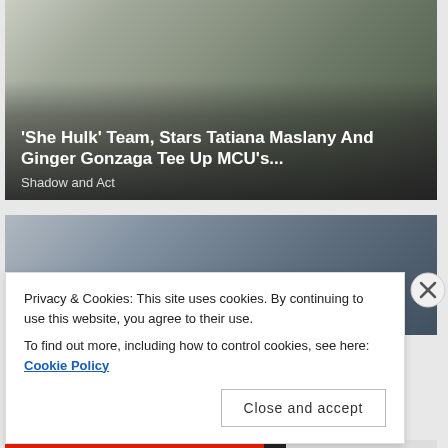[Figure (photo): Article card with dark photo of two people, overlaid with article title and source]
'She Hulk' Team, Stars Tatiana Maslany And Ginger Gonzaga Tee Up MCU's...
Shadow and Act
[Figure (photo): Second article card with photo of a person wearing sunglasses]
Privacy & Cookies: This site uses cookies. By continuing to use this website, you agree to their use.
To find out more, including how to control cookies, see here: Cookie Policy
Close and accept